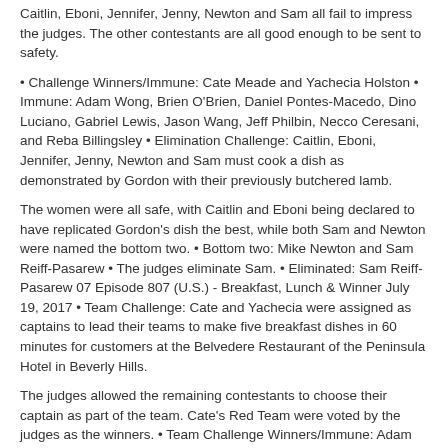Caitlin, Eboni, Jennifer, Jenny, Newton and Sam all fail to impress the judges. The other contestants are all good enough to be sent to safety.
• Challenge Winners/Immune: Cate Meade and Yachecia Holston • Immune: Adam Wong, Brien O'Brien, Daniel Pontes-Macedo, Dino Luciano, Gabriel Lewis, Jason Wang, Jeff Philbin, Necco Ceresani, and Reba Billingsley • Elimination Challenge: Caitlin, Eboni, Jennifer, Jenny, Newton and Sam must cook a dish as demonstrated by Gordon with their previously butchered lamb.
The women were all safe, with Caitlin and Eboni being declared to have replicated Gordon's dish the best, while both Sam and Newton were named the bottom two. • Bottom two: Mike Newton and Sam Reiff-Pasarew • The judges eliminate Sam. • Eliminated: Sam Reiff-Pasarew 07 Episode 807 (U.S.) - Breakfast, Lunch & Winner July 19, 2017 • Team Challenge: Cate and Yachecia were assigned as captains to lead their teams to make five breakfast dishes in 60 minutes for customers at the Belvedere Restaurant of the Peninsula Hotel in Beverly Hills.
The judges allowed the remaining contestants to choose their captain as part of the team. Cate's Red Team were voted by the judges as the winners. • Team Challenge Winners/Immune: Adam Wong, Brien O'Brien, Cate Meade, Daniel Pontes-Macedo, Eboni Henry, Gabriel Lewis, Mike Newton and Necco Ceresani • Pressure Test: Jadwal masterchef season 8 the captain, Yachecia was given the choice to save herself or duel another chef in the pressure test, therefore saving everyone else.
She chose to duel Jennifer. They will compete in a Pressure Test to recreate Gordon's British fish and chips in 45 minutes. • Immune: Caitlin Jones, Dino Luciano, Jason Wang, Jeff Philbin, Jenny Cavellier and Reba Billingsley • Bottom two: Jennifer Williams and Yachecia Holston • Yachecia's dish beat Jennifer's, eliminating her.
• Eliminated: Jennifer Williams 08 Episode 808 (U.S.) - Whole-y Cow! July 26, 2017 • Mystery Box Challenge: The contestants must create a dish involving